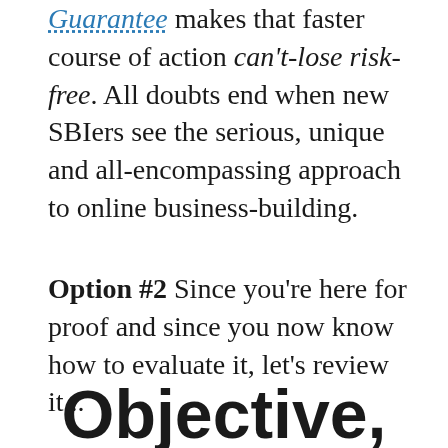Guarantee makes that faster course of action can't-lose risk-free. All doubts end when new SBIers see the serious, unique and all-encompassing approach to online business-building.
Option #2 Since you're here for proof and since you now know how to evaluate it, let's review it...
Objective,